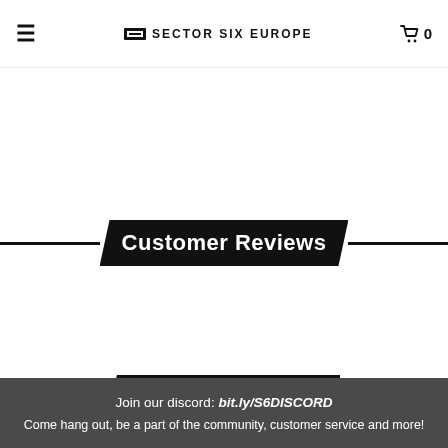≡ SECTOR SIX EUROPE 🛒 0
Customer Reviews
Related Products
Join our discord: bit.ly/S6DISCORD
Come hang out, be a part of the community, customer service and more!